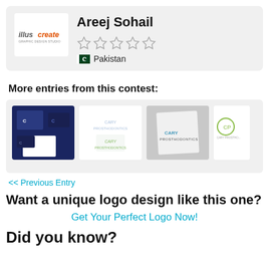[Figure (logo): illustcreate logo inside white box within profile card]
Areej Sohail
☆☆☆☆☆ (5 empty stars)
Pakistan
More entries from this contest:
[Figure (screenshot): Four thumbnail images of logo design entries for Cary Prosthodontics contest]
<< Previous Entry
Want a unique logo design like this one?
Get Your Perfect Logo Now!
Did you know?